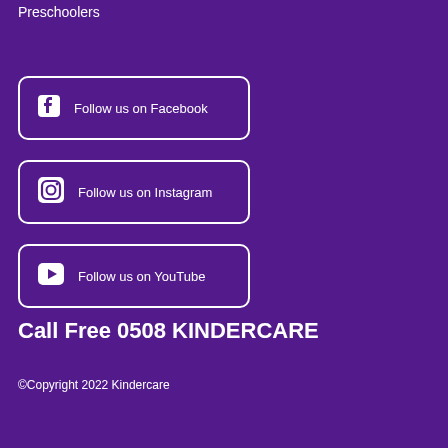Preschoolers
Follow us on Facebook
Follow us on Instagram
Follow us on YouTube
Call Free 0508 KINDERCARE
©Copyright 2022 Kindercare